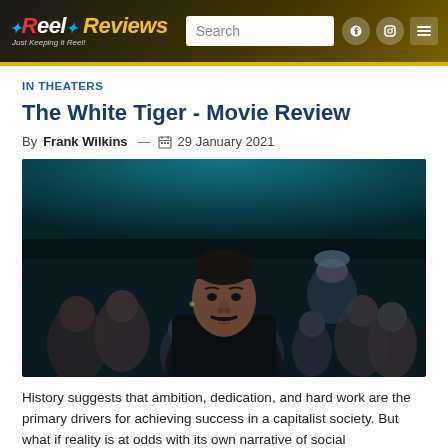Reel Reviews - Just Keeping it Reel!
IN THEATERS
The White Tiger - Movie Review
By Frank Wilkins — 29 January 2021
[Figure (photo): Movie still from The White Tiger showing a young man with a mustache and pulled-back hair in the foreground, with a crowd of men in light-colored shirts behind him, under teal/blue ambient lighting]
History suggests that ambition, dedication, and hard work are the primary drivers for achieving success in a capitalist society. But what if reality is at odds with its own narrative of social advancement?